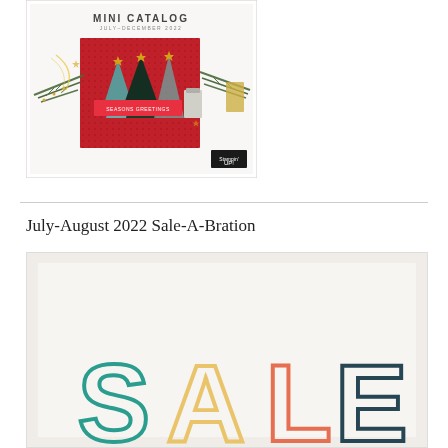[Figure (illustration): Mini Catalog cover showing Christmas trees card with SEASONS GREETINGS banner, pine branches, gold stars, and Stampin Up logo. Text reads MINI CATALOG JULY-DECEMBER 2022.]
July-August 2022 Sale-A-Bration
[Figure (illustration): Sale-A-Bration promotional image with light beige/cream background, partially visible large colorful letters spelling SALE at the bottom]